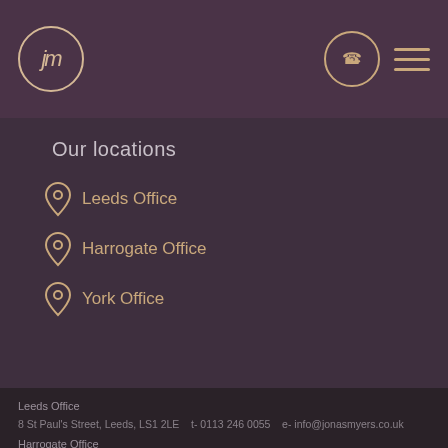[Figure (logo): jm logo in circle, gold/cream color on dark purple background]
[Figure (illustration): Phone icon in circle outline, gold color]
[Figure (illustration): Hamburger menu icon, three horizontal gold lines]
Our locations
Leeds Office
Harrogate Office
York Office
Leeds Office
8 St Paul's Street,
Leeds,
LS1 2LE

t- 0113 246 0055
e- info@jonasmyers.co.uk
Harrogate Office
5 Victoria Avenue
Harrogate,